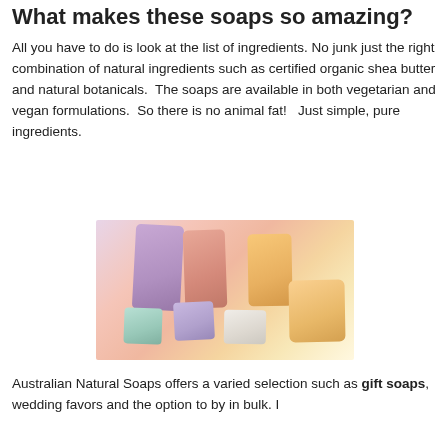What makes these soaps so amazing?
All you have to do is look at the list of ingredients. No junk just the right combination of natural ingredients such as certified organic shea butter and natural botanicals.  The soaps are available in both vegetarian and vegan formulations.  So there is no animal fat!   Just simple, pure ingredients.
[Figure (photo): A collection of colorful natural soap bars in pastel shades including purple, pink/salmon, orange, mint green, lavender, and white arranged together]
Australian Natural Soaps offers a varied selection such as gift soaps, wedding favors and the option to by in bulk. I